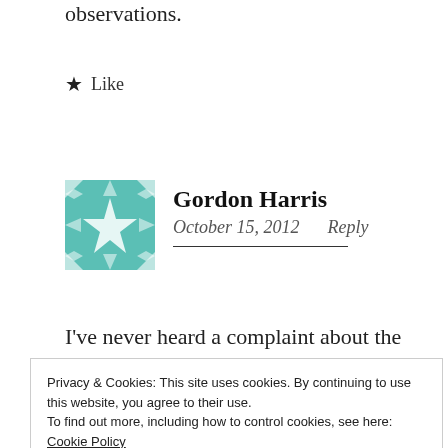observations.
★ Like
[Figure (illustration): Teal and white geometric quilt pattern avatar for Gordon Harris]
Gordon Harris
October 15, 2012   Reply
I've never heard a complaint about the Andersen 4000 doors. There are several color
Privacy & Cookies: This site uses cookies. By continuing to use this website, you agree to their use.
To find out more, including how to control cookies, see here:
Cookie Policy
Close and accept